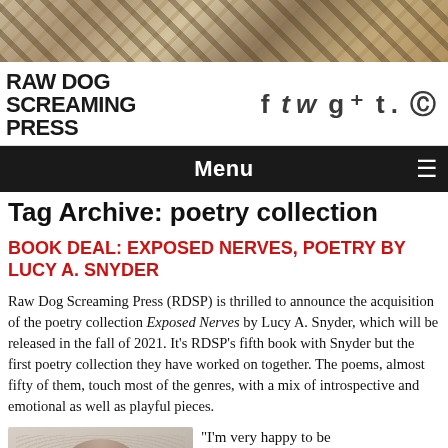[Figure (photo): Decorative zebra stripe or animal print textured banner image at top of page]
RAW DOG SCREAMING PRESS
Menu
Tag Archive: poetry collection
BOOK DEAL: EXPOSED NERVES, POETRY BY LUCY A. SNYDER
Raw Dog Screaming Press (RDSP) is thrilled to announce the acquisition of the poetry collection Exposed Nerves by Lucy A. Snyder, which will be released in the fall of 2021. It's RDSP's fifth book with Snyder but the first poetry collection they have worked on together. The poems, almost fifty of them, touch most of the genres, with a mix of introspective and emotional as well as playful pieces.
[Figure (photo): Portrait photo of Lucy A. Snyder]
“I’m very happy to be